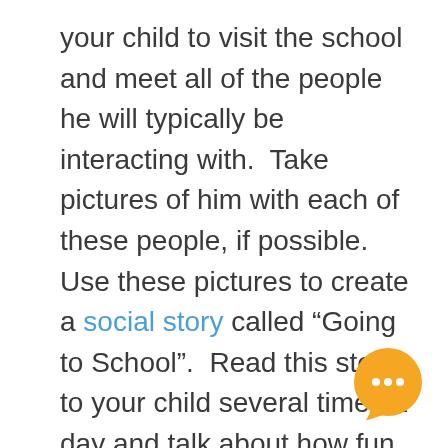your child to visit the school and meet all of the people he will typically be interacting with.  Take pictures of him with each of these people, if possible.  Use these pictures to create a social story called “Going to School”.  Read this story to your child several times a day and talk about how fun school will be.  While you are reading this story, make sure to provide reinforcement, or rewards, to associate good things with the idea of going to school.
Ideas of rewards to use could be eating a
[Figure (illustration): Orange circular chat bubble icon with three white dots (ellipsis) inside, positioned in the bottom-right area of the page.]